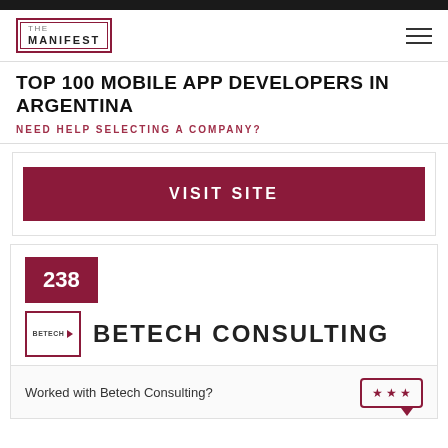THE MANIFEST
TOP 100 MOBILE APP DEVELOPERS IN ARGENTINA
NEED HELP SELECTING A COMPANY?
VISIT SITE
238
[Figure (logo): Betech logo with arrow mark]
BETECH CONSULTING
Worked with Betech Consulting?